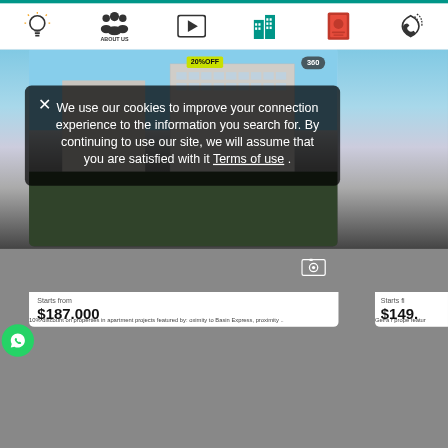[Figure (screenshot): Website screenshot showing navigation bar with icons (lightbulb, About Us group, play button, buildings, passport, phone), a real estate property image showing modern apartment buildings with a '20%OFF' badge and '360' button, and a cookie consent overlay popup with close button (X) and text about cookie usage, plus partial price information at bottom showing '$187.000' and '$149.' with WhatsApp button.]
We use our cookies to improve your connection experience to the information you search for. By continuing to use our site, we will assume that you are satisfied with it Terms of use .
Starts from $187.000
10% discount on properties in apartment projects featured by: oximity to Basin Express, proximity ..
Starts fi $149.
Get a r prope featur